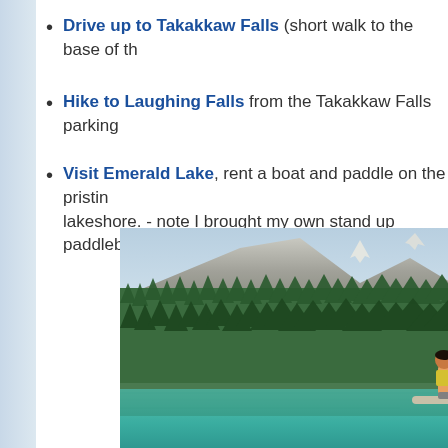Drive up to Takakkaw Falls (short walk to the base of th…
Hike to Laughing Falls from the Takakkaw Falls parking…
Visit Emerald Lake, rent a boat and paddle on the pristin… lakeshore. - note I brought my own stand up paddleboard…
[Figure (photo): Person standing on a paddleboard on a turquoise lake with dense conifer forest and rocky mountain peaks in background]